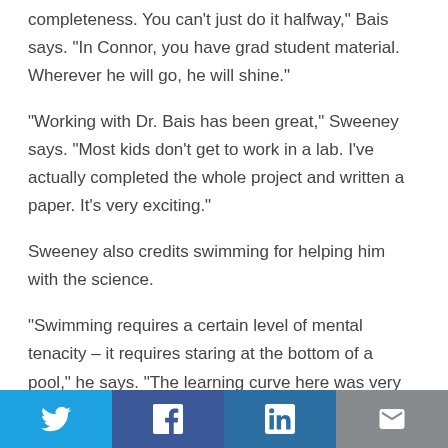completeness. You can’t just do it halfway,” Bais says. “In Connor, you have grad student material. Wherever he will go, he will shine.”
“Working with Dr. Bais has been great,” Sweeney says. “Most kids don’t get to work in a lab. I’ve actually completed the whole project and written a paper. It’s very exciting.”
Sweeney also credits swimming for helping him with the science.
“Swimming requires a certain level of mental tenacity – it requires staring at the bottom of a pool,” he says. “The learning curve here was very steep for me. When I had contamination in a lab sample, when I breathed on
Twitter Facebook LinkedIn Email